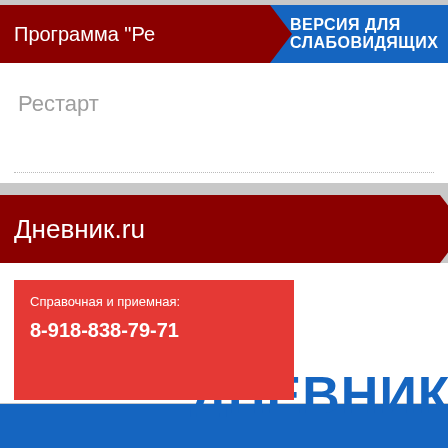Программа "Ре...
ВЕРСИЯ ДЛЯ СЛАБОВИДЯЩИХ
Рестарт
Дневник.ru
Справочная и приемная:
8-918-838-79-71
[Figure (logo): ДНЕВНИК logo text in blue]
[Figure (screenshot): Blue bottom bar partial]